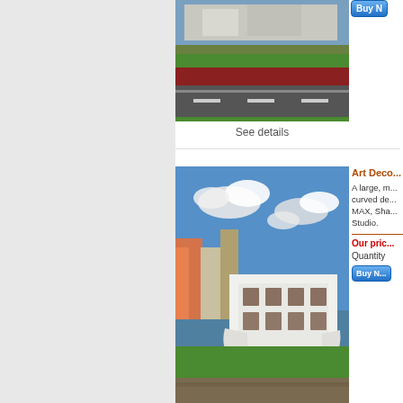[Figure (photo): 3D render of a road/track scene, partially cropped at top]
See details
[Figure (illustration): Buy Now button (blue gradient), partially cropped]
Art Deco...
A large, m... curved de... MAX, Sha... Studio.
Our pric...
Quantity
[Figure (illustration): Buy Now button (blue gradient)]
[Figure (photo): 3D render of a white Art Deco building on a hillside with colorful neighboring buildings]
See details
Art Deco...
An elegant streets in 1... England. A... Shade, Vu...